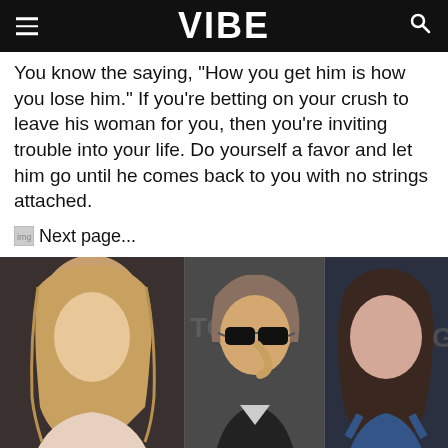VIBE
You know the saying, "How you get him is how you lose him." If you’re betting on your crush to leave his woman for you, then you’re inviting trouble into your life. Do yourself a favor and let him go until he comes back to you with no strings attached.
Next page...
[Figure (photo): Composite photo of three celebrities side by side: a blonde woman on the left, a man in sunglasses in the center, and a brunette woman on the right.]